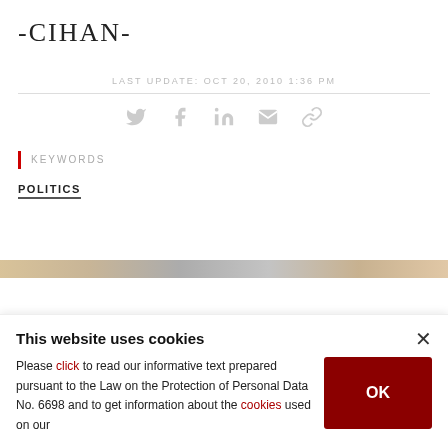-CIHAN-
LAST UPDATE: OCT 20, 2010 1:36 PM
[Figure (infographic): Social sharing icons: Twitter, Facebook, LinkedIn, Email, Link]
KEYWORDS
POLITICS
This website uses cookies

Please click to read our informative text prepared pursuant to the Law on the Protection of Personal Data No. 6698 and to get information about the cookies used on our